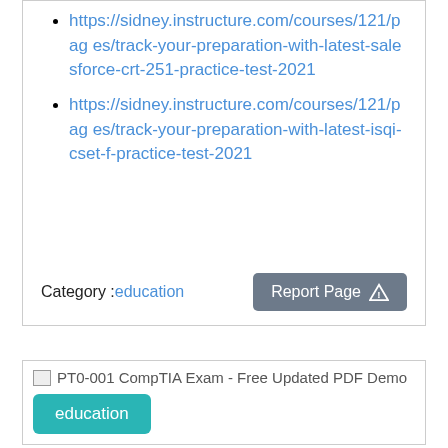https://sidney.instructure.com/courses/121/pages/track-your-preparation-with-latest-salesforce-crt-251-practice-test-2021
https://sidney.instructure.com/courses/121/pages/track-your-preparation-with-latest-isqi-cset-f-practice-test-2021
Category :education
[Figure (other): Report Page button with warning icon]
[Figure (other): PT0-001 CompTIA Exam - Free Updated PDF Demo card with broken image placeholder and education tag]